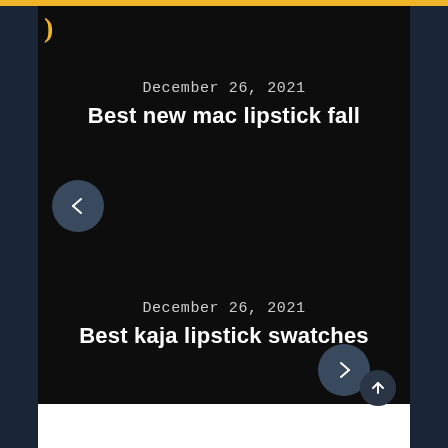[Figure (screenshot): Dark-themed mobile web UI screenshot showing two blog post cards on a black background with gold accent bar at top and dark blue side panels. A crescent/parenthesis logo symbol in gold is at the top left.]
December 26, 2021
Best new mac lipstick fall
December 26, 2021
Best kaja lipstick swatches